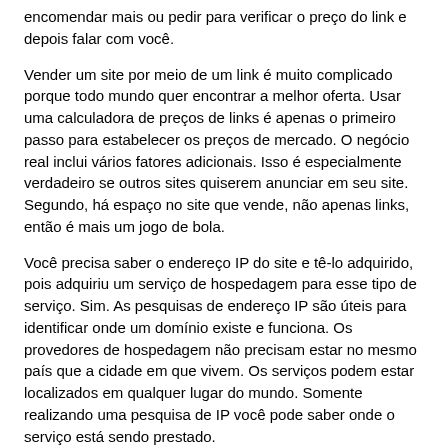encomendar mais ou pedir para verificar o preço do link e depois falar com você.
Vender um site por meio de um link é muito complicado porque todo mundo quer encontrar a melhor oferta. Usar uma calculadora de preços de links é apenas o primeiro passo para estabelecer os preços de mercado. O negócio real inclui vários fatores adicionais. Isso é especialmente verdadeiro se outros sites quiserem anunciar em seu site. Segundo, há espaço no site que vende, não apenas links, então é mais um jogo de bola.
Você precisa saber o endereço IP do site e tê-lo adquirido, pois adquiriu um serviço de hospedagem para esse tipo de serviço. Sim. As pesquisas de endereço IP são úteis para identificar onde um domínio existe e funciona. Os provedores de hospedagem não precisam estar no mesmo país que a cidade em que vivem. Os serviços podem estar localizados em qualquer lugar do mundo. Somente realizando uma pesquisa de IP você pode saber onde o serviço está sendo prestado.
Obter o melhor e mais barato provedor de serviços de hospedagem é uma tendência comum. Quando o serviço é fornecido, desde que o serviço seja excelente, o tempo de atividade é bom e a velocidade de acesso não é importante.